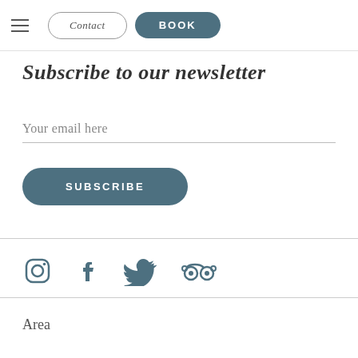Contact | BOOK
Subscribe to our newsletter
Your email here
SUBSCRIBE
[Figure (other): Social media icons: Instagram, Facebook, Twitter, TripAdvisor]
Area